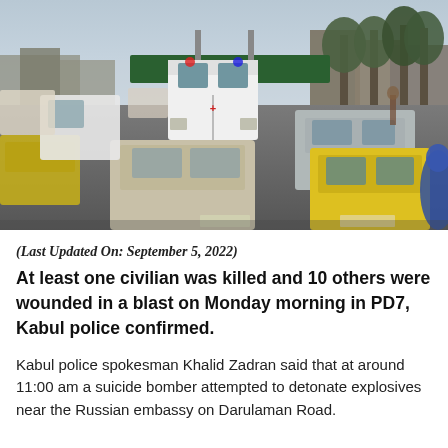[Figure (photo): Street scene in Kabul showing heavy traffic with cars including yellow taxis and an ambulance, trees lining the right side, buildings in background, hazy sky. A woman in blue burqa visible at far right edge.]
(Last Updated On: September 5, 2022)
At least one civilian was killed and 10 others were wounded in a blast on Monday morning in PD7, Kabul police confirmed.
Kabul police spokesman Khalid Zadran said that at around 11:00 am a suicide bomber attempted to detonate explosives near the Russian embassy on Darulaman Road.